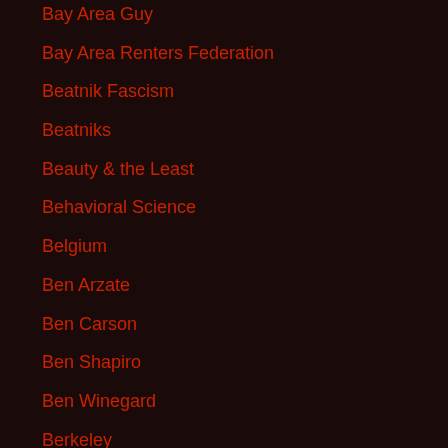Bay Area Guy
Bay Area Renters Federation
Beatnik Fascism
Beatniks
Beauty & the Least
Behavioral Science
Belgium
Ben Arzate
Ben Carson
Ben Shapiro
Ben Winegard
Berkeley
Berlin
Bernie Madoff
Bernie Sanders